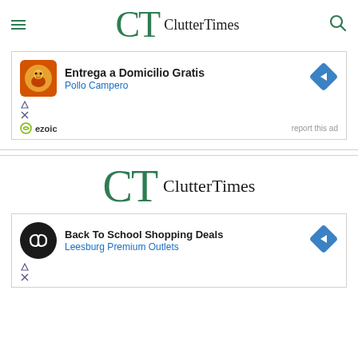ClutterTimes
[Figure (screenshot): Advertisement for Pollo Campero: Entrega a Domicilio Gratis, Pollo Campero. Shows orange circular logo, blue diamond navigation arrow, Ezoic branding, and report this ad link.]
[Figure (logo): ClutterTimes logo - CT in green serif font with ClutterTimes text]
[Figure (screenshot): Advertisement for Leesburg Premium Outlets: Back To School Shopping Deals. Shows black circular logo with infinity symbol, blue diamond navigation arrow.]